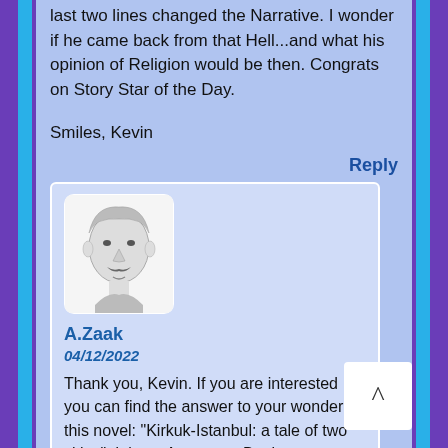last two lines changed the Narrative. I wonder if he came back from that Hell...and what his opinion of Religion would be then. Congrats on Story Star of the Day.
Smiles, Kevin
Reply
[Figure (photo): Black and white portrait photo of a man with a mustache, sketch-like rendering]
A.Zaak
04/12/2022
Thank you, Kevin. If you are interested you can find the answer to your wonder in this novel: "Kirkuk-Istanbul: a tale of two cities". It is an Amazon e-Book.